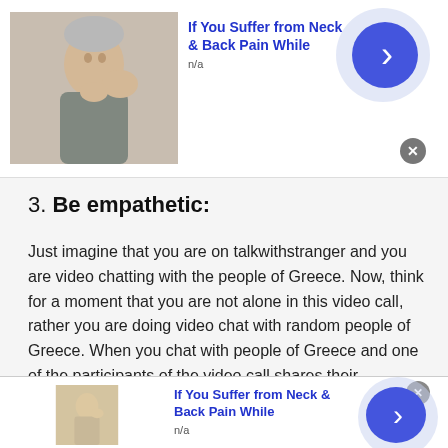[Figure (screenshot): Top advertisement banner showing a person touching their neck/throat with text 'If You Suffer from Neck & Back Pain While' and 'n/a', with a blue arrow button]
3. Be empathetic:
Just imagine that you are on talkwithstranger and you are video chatting with the people of Greece. Now, think for a moment that you are not alone in this video call, rather you are doing video chat with random people of Greece. When you chat with people of Greece and one of the participants of the video call shares their heartbreaking story and you instead of consoling them, ridicule and make fun of
[Figure (screenshot): Bottom advertisement banner showing a person touching their neck with text 'If You Suffer from Neck & Back Pain While' and 'n/a', with a blue arrow button]